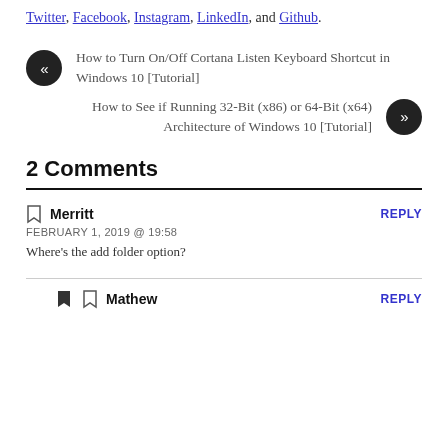Twitter, Facebook, Instagram, LinkedIn, and Github.
« How to Turn On/Off Cortana Listen Keyboard Shortcut in Windows 10 [Tutorial]
How to See if Running 32-Bit (x86) or 64-Bit (x64) Architecture of Windows 10 [Tutorial] »
2 Comments
Merritt
FEBRUARY 1, 2019 @ 19:58
Where's the add folder option?
Mathew